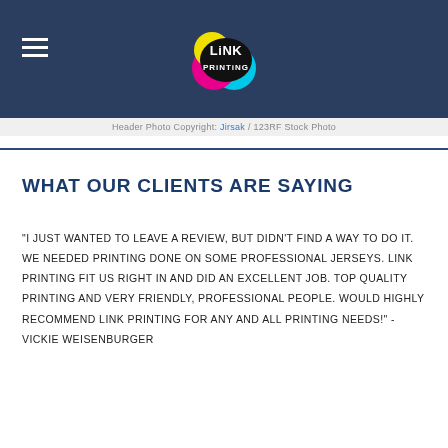Link Printing logo header
Header Photo Copyright: Jirsak / 123RF Stock Photo
WHAT OUR CLIENTS ARE SAYING
"I JUST WANTED TO LEAVE A REVIEW, BUT DIDN'T FIND A WAY TO DO IT. WE NEEDED PRINTING DONE ON SOME PROFESSIONAL JERSEYS. LINK PRINTING FIT US RIGHT IN AND DID AN EXCELLENT JOB. TOP QUALITY PRINTING AND VERY FRIENDLY, PROFESSIONAL PEOPLE. WOULD HIGHLY RECOMMEND LINK PRINTING FOR ANY AND ALL PRINTING NEEDS!" - VICKIE WEISENBURGER